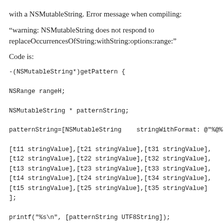with a NSMutableString. Error message when compiling:
“warning: NSMutableString does not respond to replaceOccurrencesOfString:withString:options:range:”
Code is:
-(NSMutableString*)getPattern {

NSRange rangeH;

NSMutableString * patternString;

patternString=[NSMutableString    stringWithFormat: @"%@%

[t11 stringValue],[t21 stringValue],[t31 stringValue],
[t12 stringValue],[t22 stringValue],[t32 stringValue],
[t13 stringValue],[t23 stringValue],[t33 stringValue],
[t14 stringValue],[t24 stringValue],[t34 stringValue],
[t15 stringValue],[t25 stringValue],[t35 stringValue]
];

printf("%s\n", [patternString UTF8String]);
rangeH = NSMakeRange(0, [patternString length]);

[patternString replaceOccurrencesOfString:@"h" withString

 return patternString; }